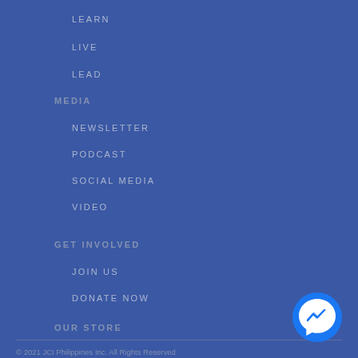LEARN
LIVE
LEAD
MEDIA
NEWSLETTER
PODCAST
SOCIAL MEDIA
VIDEO
GET INVOLVED
JOIN US
DONATE NOW
OUR STORE
© 2021 JCI Philippines Inc. All Rights Reserved | Powered by Savage Ad Fox Inc.
[Figure (logo): Facebook Messenger icon — blue circle with white lightning bolt/chat symbol]